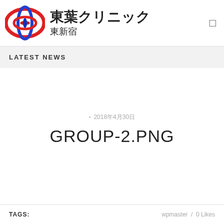[Figure (logo): Circular logo with red outer ellipse and blue inner oval shapes, overlapping, forming a medical/clinic emblem]
東葉クリニック 東新宿
LATEST NEWS
2018年4月30日
GROUP-2.PNG
TAGS:　　wpmaster / 0 Likes